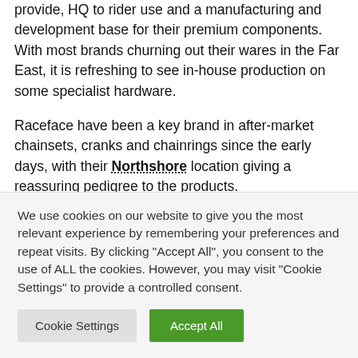provide, HQ to rider use and a manufacturing and development base for their premium components. With most brands churning out their wares in the Far East, it is refreshing to see in-house production on some specialist hardware.
Raceface have been a key brand in after-market chainsets, cranks and chainrings since the early days, with their Northshore location giving a reassuring pedigree to the products.
We use cookies on our website to give you the most relevant experience by remembering your preferences and repeat visits. By clicking "Accept All", you consent to the use of ALL the cookies. However, you may visit "Cookie Settings" to provide a controlled consent.